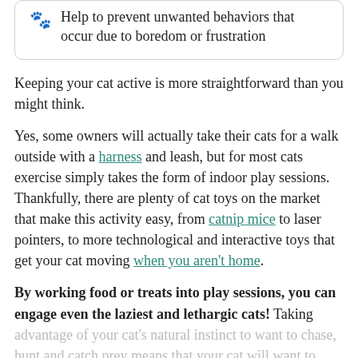Help to prevent unwanted behaviors that occur due to boredom or frustration
Keeping your cat active is more straightforward than you might think.
Yes, some owners will actually take their cats for a walk outside with a harness and leash, but for most cats exercise simply takes the form of indoor play sessions. Thankfully, there are plenty of cat toys on the market that make this activity easy, from catnip mice to laser pointers, to more technological and interactive toys that get your cat moving when you aren't home.
By working food or treats into play sessions, you can engage even the laziest and lethargic cats! Taking advantage of your cat's natural instinct to want to chase, hunt and catch prey means that your cat will want to play with you when those instincts are triggered.